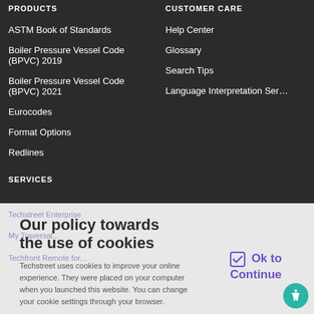PRODUCTS
ASTM Book of Standards
Boiler Pressure Vessel Code (BPVC) 2019
Boiler Pressure Vessel Code (BPVC) 2021
Eurocodes
Format Options
Redlines
SERVICES
CUSTOMER CARE
Help Center
Glossary
Search Tips
Language Interpretation Ser…
Techstreet Enterprise
My Traversal...
Techfront Remote for...
Our policy towards the use of cookies
Techstreet uses cookies to improve your online experience. They were placed on your computer when you launched this website. You can change your cookie settings through your browser.
Ok to Continue